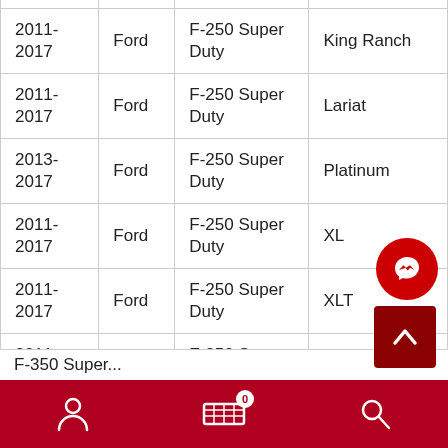| Year | Make | Model | Trim |
| --- | --- | --- | --- |
| 2011-2017 | Ford | F-250 Super Duty | King Ranch |
| 2011-2017 | Ford | F-250 Super Duty | Lariat |
| 2013-2017 | Ford | F-250 Super Duty | Platinum |
| 2011-2017 | Ford | F-250 Super Duty | XL |
| 2011-2017 | Ford | F-250 Super Duty | XLT |
| 2011-2017 | Ford | F-350 Super Duty | King Ranch |
| ... |  | F-350 Super... |  |